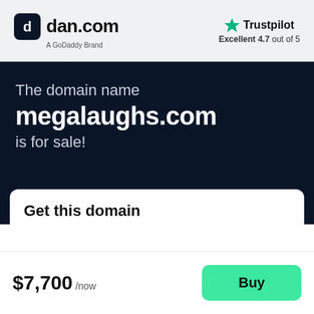[Figure (logo): dan.com logo with rounded square icon and text 'dan.com' with subtitle 'A GoDaddy Brand']
[Figure (logo): Trustpilot logo with green star and text 'Trustpilot', rating 'Excellent 4.7 out of 5']
The domain name megalaughs.com is for sale!
Get this domain
$7,700 /now
Buy